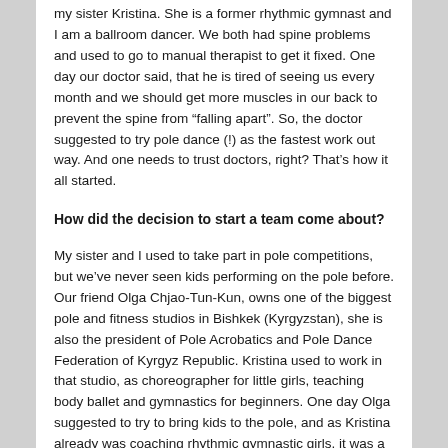my sister Kristina. She is a former rhythmic gymnast and I am a ballroom dancer. We both had spine problems and used to go to manual therapist to get it fixed. One day our doctor said, that he is tired of seeing us every month and we should get more muscles in our back to prevent the spine from "falling apart". So, the doctor suggested to try pole dance (!) as the fastest work out way. And one needs to trust doctors, right? That's how it all started.
How did the decision to start a team come about?
My sister and I used to take part in pole competitions, but we've never seen kids performing on the pole before. Our friend Olga Chjao-Tun-Kun, owns one of the biggest pole and fitness studios in Bishkek (Kyrgyzstan), she is also the president of Pole Acrobatics and Pole Dance Federation of Kyrgyz Republic. Kristina used to work in that studio, as choreographer for little girls, teaching body ballet and gymnastics for beginners. One day Olga suggested to try to bring kids to the pole, and as Kristina already was coaching rhythmic gymnastic girls, it was a new challenge. And it was accepted. We started with a